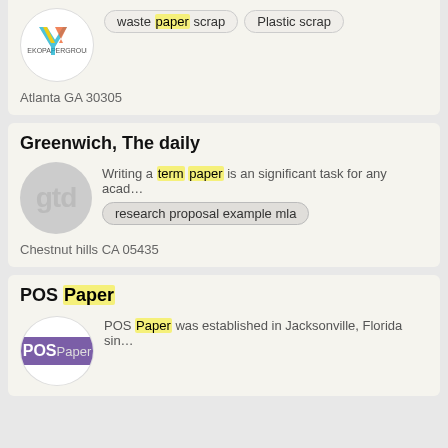[Figure (logo): TEKOPAPERGROUP logo in white circle]
waste paper scrap
Plastic scrap
Atlanta GA 30305
Greenwich, The daily
[Figure (logo): Grey circle with 'gtd' text]
Writing a term paper is an significant task for any acad...
research proposal example mla
Chestnut hills CA 05435
POS Paper
POS Paper was established in Jacksonville, Florida sin...
[Figure (logo): POS Paper logo - purple rounded rectangle with white text]